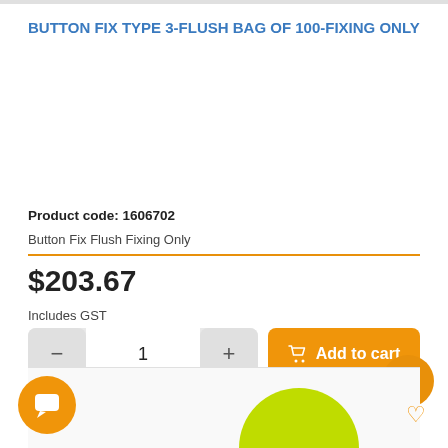BUTTON FIX TYPE 3-FLUSH BAG OF 100-FIXING ONLY
Product code: 1606702
Button Fix Flush Fixing Only
$203.67
Includes GST
UOM:  1 = 1 EACH
[Figure (screenshot): Yellow-green product partially visible at bottom of page]